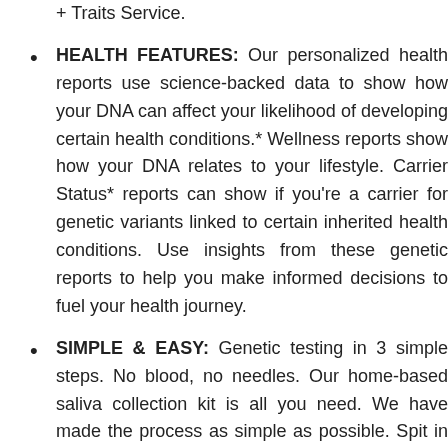+ Traits Service.
HEALTH FEATURES: Our personalized health reports use science-backed data to show how your DNA can affect your likelihood of developing certain health conditions.* Wellness reports show how your DNA relates to your lifestyle. Carrier Status* reports can show if you're a carrier for genetic variants linked to certain inherited health conditions. Use insights from these genetic reports to help you make informed decisions to fuel your health journey.
SIMPLE & EASY: Genetic testing in 3 simple steps. No blood, no needles. Our home-based saliva collection kit is all you need. We have made the process as simple as possible. Spit in the provided tube, register your kit using the barcode, and return the saliva sample back to our lab in the pre-paid package. Get results back in 5-6 weeks. Your Health + Ancestry kit already includes access